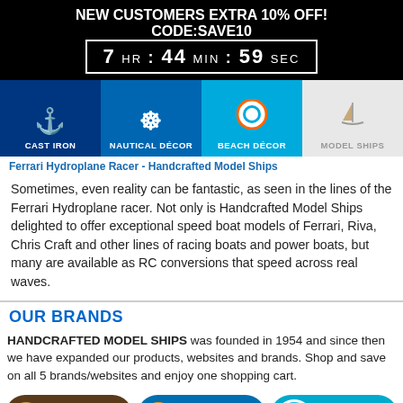NEW CUSTOMERS EXTRA 10% OFF!
CODE:SAVE10
7 HR : 44 MIN : 59 SEC
[Figure (screenshot): Navigation bar with four category icons: Cast Iron (anchor, dark blue), Nautical Décor (ship wheel, medium blue), Beach Décor (life preserver, sky blue), Model Ships (sailboat, light gray)]
Sometimes, even reality can be fantastic, as seen in the lines of the Ferrari Hydroplane racer. Not only is Handcrafted Model Ships delighted to offer exceptional speed boat models of Ferrari, Riva, Chris Craft and other lines of racing boats and power boats, but many are available as RC conversions that speed across real waves.
OUR BRANDS
HANDCRAFTED MODEL SHIPS was founded in 1954 and since then we have expanded our products, websites and brands. Shop and save on all 5 brands/websites and enjoy one shopping cart.
[Figure (infographic): Three brand buttons: Handcrafted Model Ships (brown pill button with sailboat icon), Handcrafted Nautical Décor (blue pill button with ship wheel icon), Handcrafted Beach Décor (cyan pill button with life ring icon)]